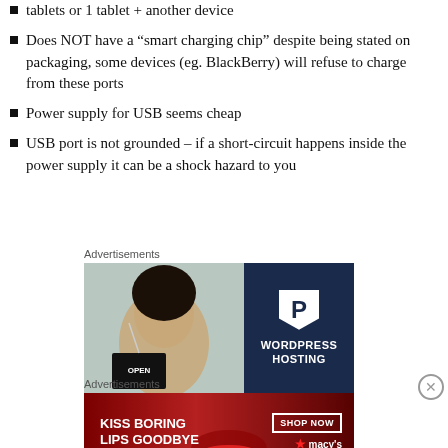tablets or 1 tablet + another device
Does NOT have a “smart charging chip” despite being stated on packaging, some devices (eg. BlackBerry) will refuse to charge from these ports
Power supply for USB seems cheap
USB port is not grounded – if a short-circuit happens inside the power supply it can be a shock hazard to you
Advertisements
[Figure (photo): WordPress Hosting advertisement with a person holding an open sign and WordPress P logo]
Advertisements
[Figure (photo): Macy's lipstick advertisement: KISS BORING LIPS GOODBYE with SHOP NOW button]